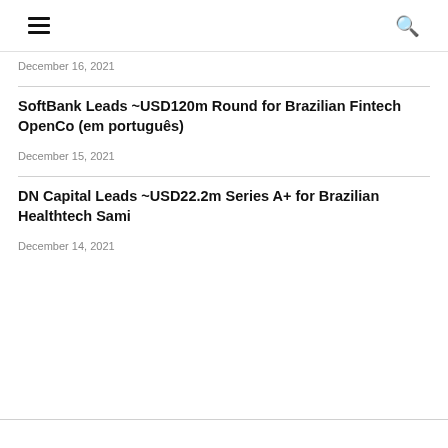≡ 🔍
December 16, 2021
SoftBank Leads ~USD120m Round for Brazilian Fintech OpenCo (em português)
December 15, 2021
DN Capital Leads ~USD22.2m Series A+ for Brazilian Healthtech Sami
December 14, 2021